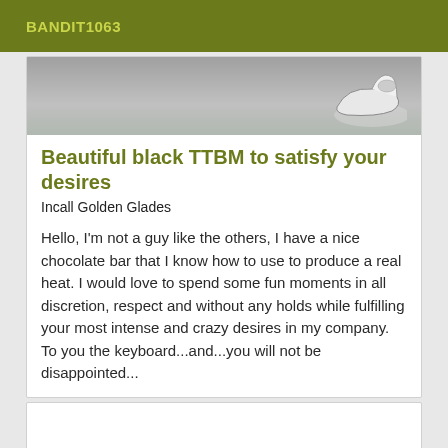BANDIT1063
[Figure (photo): Partial photo showing a shoe/sneaker against a gray background]
Beautiful black TTBM to satisfy your desires
Incall Golden Glades
Hello, I'm not a guy like the others, I have a nice chocolate bar that I know how to use to produce a real heat. I would love to spend some fun moments in all discretion, respect and without any holds while fulfilling your most intense and crazy desires in my company. To you the keyboard...and...you will not be disappointed...